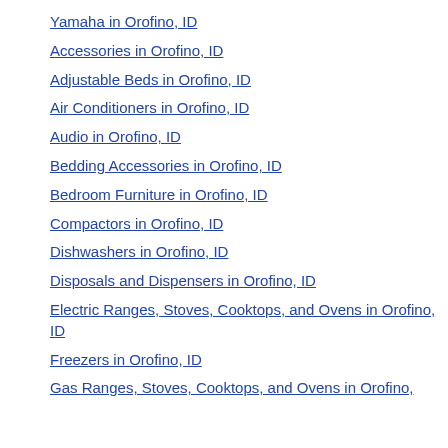Yamaha in Orofino, ID
Accessories in Orofino, ID
Adjustable Beds in Orofino, ID
Air Conditioners in Orofino, ID
Audio in Orofino, ID
Bedding Accessories in Orofino, ID
Bedroom Furniture in Orofino, ID
Compactors in Orofino, ID
Dishwashers in Orofino, ID
Disposals and Dispensers in Orofino, ID
Electric Ranges, Stoves, Cooktops, and Ovens in Orofino, ID
Freezers in Orofino, ID
Gas Ranges, Stoves, Cooktops, and Ovens in Orofino,